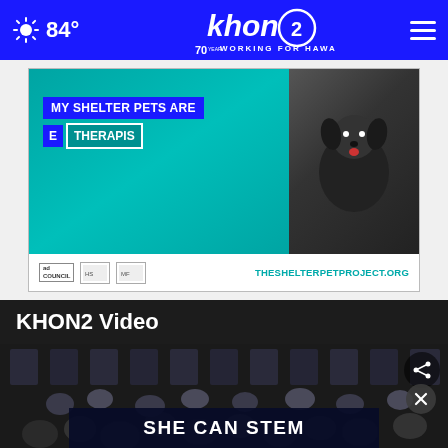84° — KHON2 Working for Hawaii
[Figure (photo): Advertisement for The Shelter Pet Project showing a person holding a Cavalier King Charles Spaniel dog on a teal background with text 'MY SHELTER PETS ARE THE THERAPISTS' and logos including ad council, humane society, and maddie's fund. URL: THESHELTERPETPROJECT.ORG]
KHON2 Video
[Figure (screenshot): Video thumbnail showing a crowd of people with an overlay card reading 'SHE CAN STEM'. Share icon and close (x) button visible in upper right corner.]